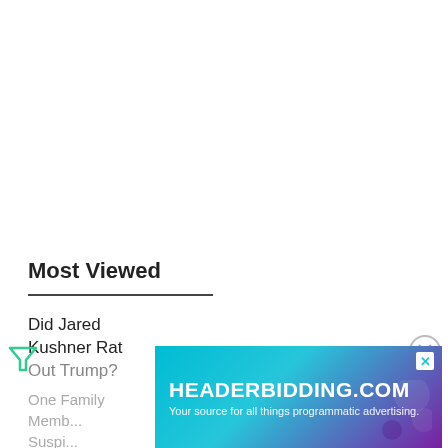Most Viewed
Did Jared Kushner Rat Out Trump?
One Family Member Suspected...
[Figure (screenshot): HEADERBIDDING.COM advertisement banner with teal/purple gradient background. Text reads 'HEADERBIDDING.COM' and 'Your source for all things programmatic advertising.']